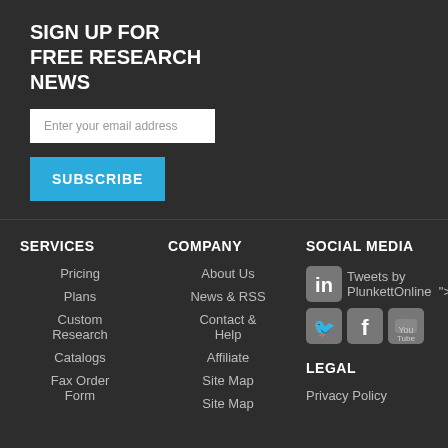SIGN UP FOR FREE RESEARCH NEWS
Enter your email address
SUBSCRIBE
SERVICES
Pricing
Plans
Custom Research
Catalogs
Fax Order Form
COMPANY
About Us
News & RSS
Contact & Help
Affiliate
Site Map
Site Map
SOCIAL MEDIA
Tweets by PlunkettOnline ">
LEGAL
Privacy Policy